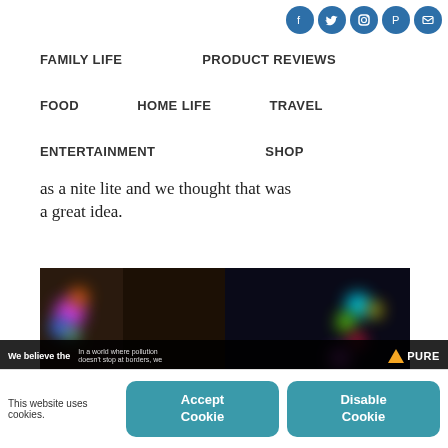[Figure (logo): Social media icons: Facebook, Twitter, Instagram, Pinterest, Email — circular blue icons in top right]
FAMILY LIFE   PRODUCT REVIEWS   FOOD   HOME LIFE   TRAVEL   ENTERTAINMENT   SHOP
as a nite lite and we thought that was a great idea.
[Figure (photo): Two side-by-side dark photos of a child playing with colorful LED toys/lights in the dark]
[Figure (screenshot): Ad overlay bar showing 'We believe the' text and 'In a world where pollution doesn't stop at borders, we' and PURE logo]
This website uses cookies.
Accept Cookie
Disable Cookie